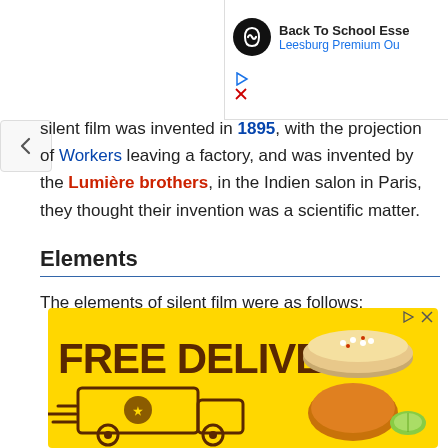[Figure (screenshot): Advertisement banner for Back To School Essentials at Leesburg Premium Outlets, with circular logo icon, blue subtitle text, and ad close/dismiss controls]
silent film was invented in 1895, with the projection of Workers leaving a factory, and was invented by the Lumière brothers, in the Indien salon in Paris, they thought their invention was a scientific matter.
Elements
The elements of silent film were as follows:
[Figure (screenshot): Advertisement with yellow background showing FREE DELIVERY text in large dark brown bold font, delivery truck illustration, and food images on the right side]